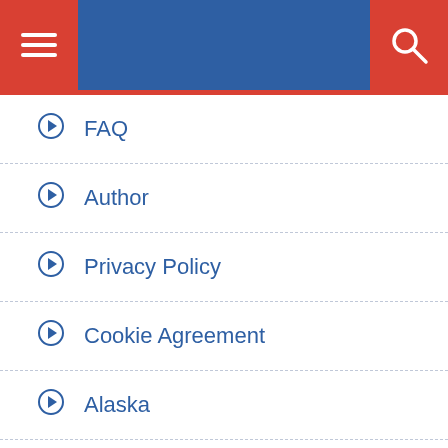Navigation menu header with hamburger and search icons
FAQ
Author
Privacy Policy
Cookie Agreement
Alaska
New York
Hawaii
California